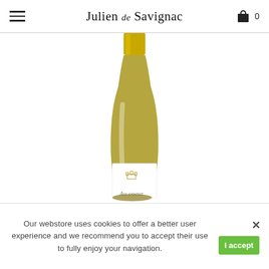Julien de Savignac
[Figure (photo): A white wine bottle with gold foil top and a white label reading 'Au coeur' with a château logo, photographed on white background, partially cropped at bottom.]
Our webstore uses cookies to offer a better user experience and we recommend you to accept their use to fully enjoy your navigation.